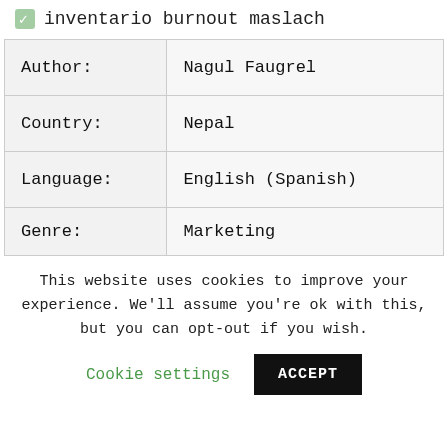inventario burnout maslach
| Author: | Nagul Faugrel |
| Country: | Nepal |
| Language: | English (Spanish) |
| Genre: | Marketing |
This website uses cookies to improve your experience. We'll assume you're ok with this, but you can opt-out if you wish.
Cookie settings   ACCEPT